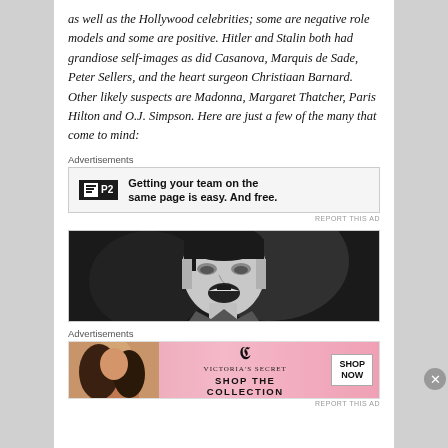as well as the Hollywood celebrities; some are negative role models and some are positive. Hitler and Stalin both had grandiose self-images as did Casanova, Marquis de Sade, Peter Sellers, and the heart surgeon Christiaan Barnard. Other likely suspects are Madonna, Margaret Thatcher, Paris Hilton and O.J. Simpson. Here are just a few of the many that come to mind:
Advertisements
[Figure (screenshot): P2 advertisement banner: Getting your team on the same page is easy. And free.]
REPORT THIS AD
[Figure (photo): Black and white photograph of a man shouting or speaking passionately]
Advertisements
[Figure (screenshot): Victoria's Secret advertisement: Shop the Collection - Shop Now]